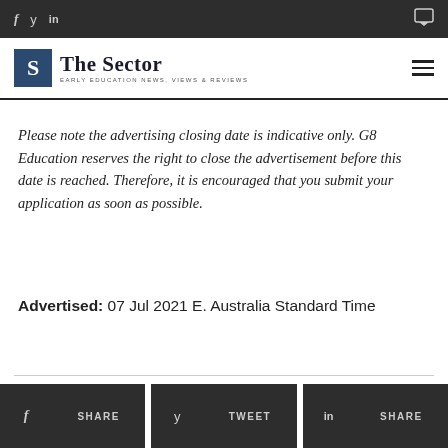f  y  in  [comment icon]
[Figure (logo): The Sector logo — S icon in dark blue box, text 'The Sector' with tagline 'EARLY EDUCATION NEWS, VIEWS & REVIEWS']
Please note the advertising closing date is indicative only. G8 Education reserves the right to close the advertisement before this date is reached. Therefore, it is encouraged that you submit your application as soon as possible.
Advertised: 07 Jul 2021 E. Australia Standard Time
f SHARE  y TWEET  in SHARE